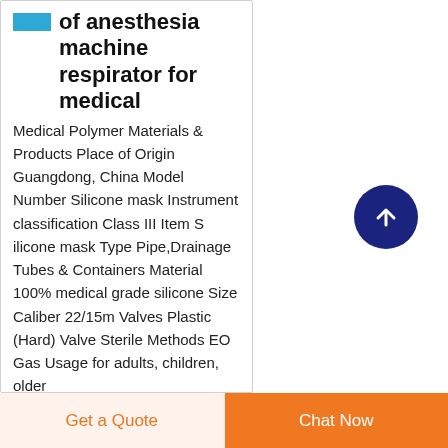of anesthesia machine respirator for medical
Medical Polymer Materials & Products Place of Origin Guangdong, China Model Number Silicone mask Instrument classification Class III Item S ilicone mask Type Pipe,Drainage Tubes & Containers Material 100% medical grade silicone Size Caliber 22/15m Valves Plastic (Hard) Valve Sterile Methods EO Gas Usage for adults, children, older
[Figure (other): Dark navy blue circular scroll-to-top button with white upward arrow icon]
Get a Quote
Chat Now